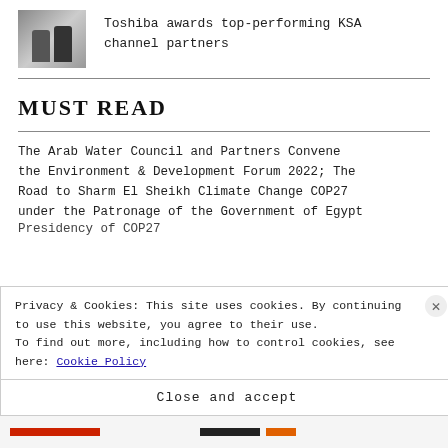[Figure (photo): Small thumbnail photo of two men in suits, one holding something white (possibly an award or document)]
Toshiba awards top-performing KSA channel partners
MUST READ
The Arab Water Council and Partners Convene the Environment & Development Forum 2022; The Road to Sharm El Sheikh Climate Change COP27 under the Patronage of the Government of Egypt Presidency of COP27
Privacy & Cookies: This site uses cookies. By continuing to use this website, you agree to their use. To find out more, including how to control cookies, see here: Cookie Policy
Close and accept